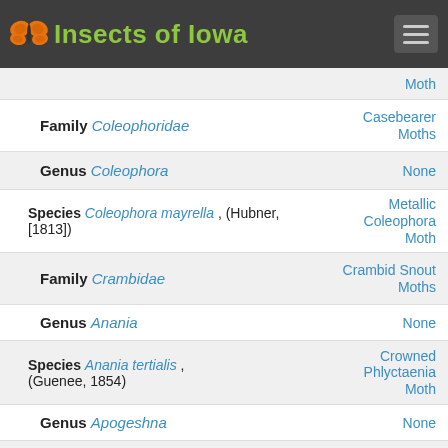Insects of Iowa
Moth
Family Coleophoridae — Casebearer Moths
Genus Coleophora — None
Species Coleophora mayrella , (Hubner, [1813]) — Metallic Coleophora Moth
Family Crambidae — Crambid Snout Moths
Genus Anania — None
Species Anania tertialis , (Guenee, 1854) — Crowned Phlyctaenia Moth
Genus Apogeshna — None
Species Apogeshna stenialis , (Guenee, 1854) — Checkered Apogeshna Moth